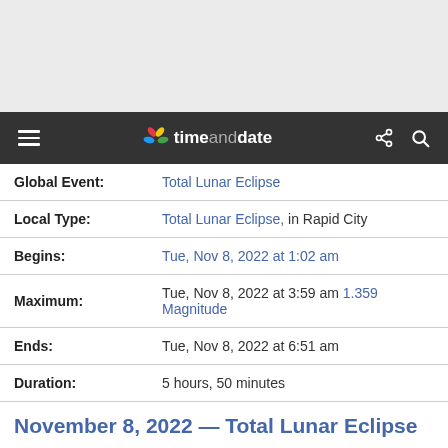[Figure (other): Gray advertisement placeholder area at the top of the page]
timeanddate navigation bar with hamburger menu, logo, share and search icons
| Global Event: | Total Lunar Eclipse |
| Local Type: | Total Lunar Eclipse, in Rapid City |
| Begins: | Tue, Nov 8, 2022 at 1:02 am |
| Maximum: | Tue, Nov 8, 2022 at 3:59 am 1.359 Magnitude |
| Ends: | Tue, Nov 8, 2022 at 6:51 am |
| Duration: | 5 hours, 50 minutes |
November 8, 2022 — Total Lunar Eclipse — Rapid City
[Figure (photo): Dark astronomical image showing lunar eclipse at Tue, Nov 8, 2022 at 3:59 am MST]